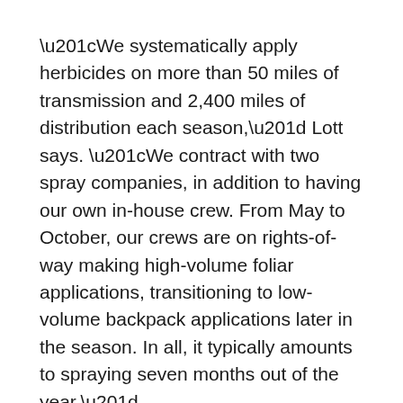“We systematically apply herbicides on more than 50 miles of transmission and 2,400 miles of distribution each season,” Lott says. “We contract with two spray companies, in addition to having our own in-house crew. From May to October, our crews are on rights-of-way making high-volume foliar applications, transitioning to low-volume backpack applications later in the season. In all, it typically amounts to spraying seven months out of the year.”
Achieving those ambitious spray goals isn’t easy. For starters, Florida’s notoriously fast plant growth rate and long growing season